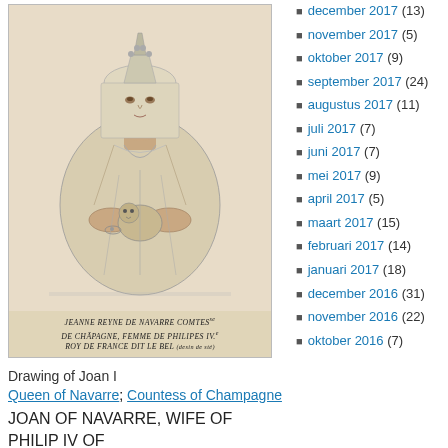[Figure (illustration): Drawing of Joan I, Queen of Navarre, Countess of Champagne, holding a small dog. Historical pencil/ink sketch. Caption at bottom: JEANNE REYNE DE NAVARRE COMTEsse DE CHAMPAGNE, FEMME DE PHILIPES IV.e ROY DE FRANCE DIT LE BEL]
Drawing of Joan I
Queen of Navarre; Countess of Champagne
JOAN OF NAVARRE, WIFE OF PHILIP IV OF
FRANCE AND MOTHER OF ISABELLA OF
december 2017 (13)
november 2017 (5)
oktober 2017 (9)
september 2017 (24)
augustus 2017 (11)
juli 2017 (7)
juni 2017 (7)
mei 2017 (9)
april 2017 (5)
maart 2017 (15)
februari 2017 (14)
januari 2017 (18)
december 2016 (31)
november 2016 (22)
oktober 2016 (7)